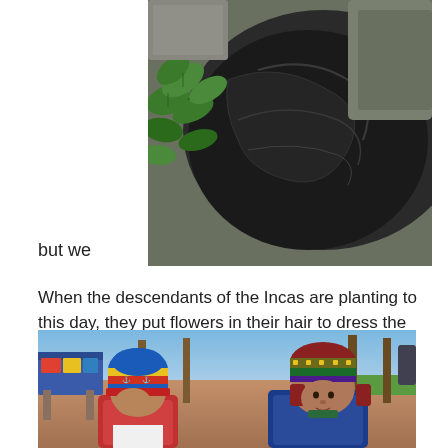[Figure (photo): Close-up photo of dark rocky surface with green coca leaves visible on the left side]
but we
When the descendants of the Incas are planting to this day, they put flowers in their hair to dress the earth. They live with shortages but they have the mountains and the sky and that gives them peace. They are always chewing coca leaves.
[Figure (photo): Two young children wearing colorful knitted hats (chullos) sitting outdoors on dirt ground, with trees and market stalls visible in the background]